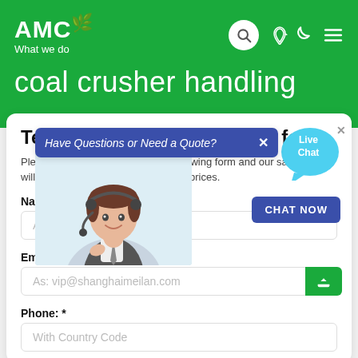AMC
What we do
coal crusher handling
Tell us what you are looking for?
Please complete and submit the following form and our sales team will contact you shortly with our best prices.
Name: *
As: Tom
Email: *
As: vip@shanghaimeilan.com
Phone: *
With Country Code
[Figure (screenshot): Popup overlay with text 'Have Questions or Need a Quote?' and a customer service agent photo, plus a Live Chat bubble and CHAT NOW button]